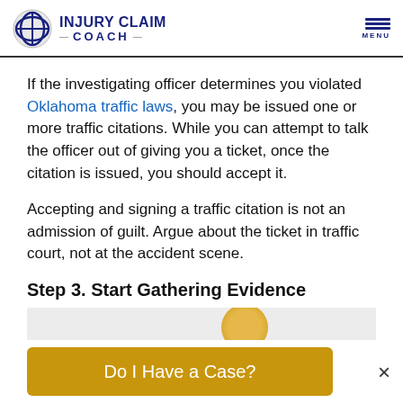INJURY CLAIM COACH
If the investigating officer determines you violated Oklahoma traffic laws, you may be issued one or more traffic citations. While you can attempt to talk the officer out of giving you a ticket, once the citation is issued, you should accept it.
Accepting and signing a traffic citation is not an admission of guilt. Argue about the ticket in traffic court, not at the accident scene.
Step 3. Start Gathering Evidence
[Figure (photo): Partial image visible at the bottom of the page showing a person, with a gold circular element visible]
Do I Have a Case?